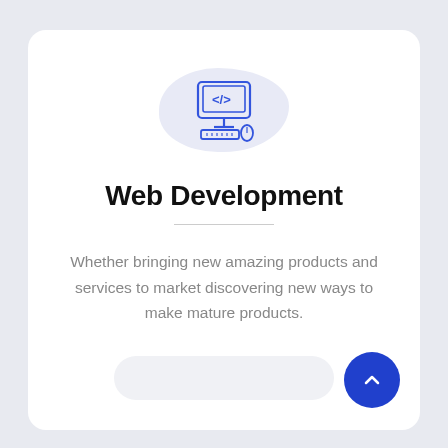[Figure (illustration): Blue line-art icon of a computer monitor showing </> code brackets, with a keyboard and mouse, centered on a light lavender blob/cloud background shape]
Web Development
Whether bringing new amazing products and services to market discovering new ways to make mature products.